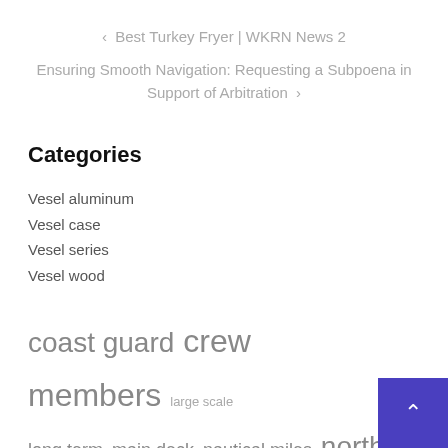< Best Turkey Fryer | WKRN News 2
Ensuring Smooth Navigation: Requesting a Subpoena in Support of Arbitration >
Categories
Vesel aluminum
Vesel case
Vesel series
Vesel wood
coast guard  crew members  large scale  long term  main deck  nautical miles  north america  press release  prime minister  speed knots  stainless s…  united states